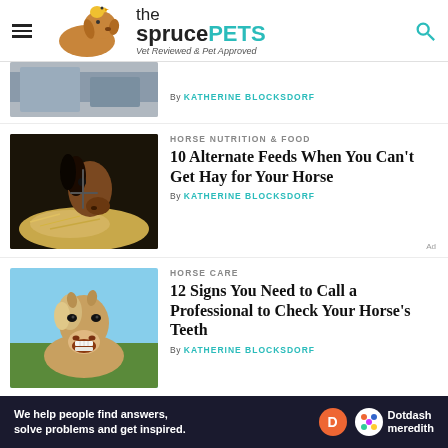the spruce PETS - Vet Reviewed & Pet Approved
[Figure (screenshot): Partial article row with image of horse in stable, by Katherine Blocksdorf]
By KATHERINE BLOCKSDORF
HORSE NUTRITION & FOOD
10 Alternate Feeds When You Can't Get Hay for Your Horse
By KATHERINE BLOCKSDORF
HORSE CARE
12 Signs You Need to Call a Professional to Check Your Horse's Teeth
By KATHERINE BLOCKSDORF
[Figure (logo): Dotdash Meredith ad bar: We help people find answers, solve problems and get inspired. Dotdash meredith logo.]